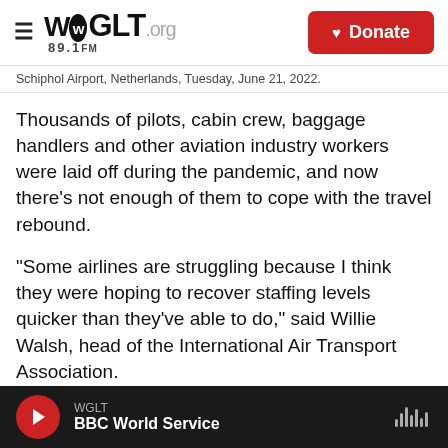WGLT.org 89.1FM | Donate
Schiphol Airport, Netherlands, Tuesday, June 21, 2022.
Thousands of pilots, cabin crew, baggage handlers and other aviation industry workers were laid off during the pandemic, and now there's not enough of them to cope with the travel rebound.
"Some airlines are struggling because I think they were hoping to recover staffing levels quicker than they've able to do," said Willie Walsh, head of the International Air Transport Association.
The post-pandemic staff shortage is not unique to
WGLT | BBC World Service